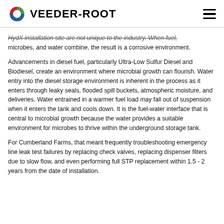VEEDER-ROOT
HydX installation site are not unique to the industry. When fuel, microbes, and water combine, the result is a corrosive environment.
Advancements in diesel fuel, particularly Ultra-Low Sulfur Diesel and Biodiesel, create an environment where microbial growth can flourish. Water entry into the diesel storage environment is inherent in the process as it enters through leaky seals, flooded spill buckets, atmospheric moisture, and deliveries. Water entrained in a warmer fuel load may fall out of suspension when it enters the tank and cools down. It is the fuel-water interface that is central to microbial growth because the water provides a suitable environment for microbes to thrive within the underground storage tank.
For Cumberland Farms, that meant frequently troubleshooting emergency line leak test failures by replacing check valves, replacing dispenser filters due to slow flow, and even performing full STP replacement within 1.5 - 2 years from the date of installation.